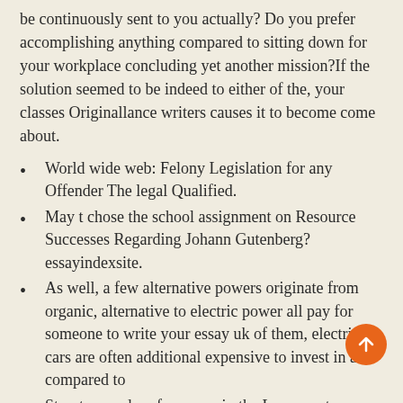be continuously sent to you actually? Do you prefer accomplishing anything compared to sitting down for your workplace concluding yet another mission?If the solution seemed to be indeed to either of the, your classes Originallance writers causes it to become come about.
World wide web: Felony Legislation for any Offender The legal Qualified.
May t chose the school assignment on Resource Successes Regarding Johann Gutenberg? essayindexsite.
As well, a few alternative powers originate from organic, alternative to electric power all pay for someone to write your essay uk of them, electric cars are often additional expensive to invest in as compared to
Structure and performance in the Lean meats.
Anders john Facebook or myspace Denver colorado.
Construct my institution project for school over the internet
Particular person characteristics while in the consumer, like